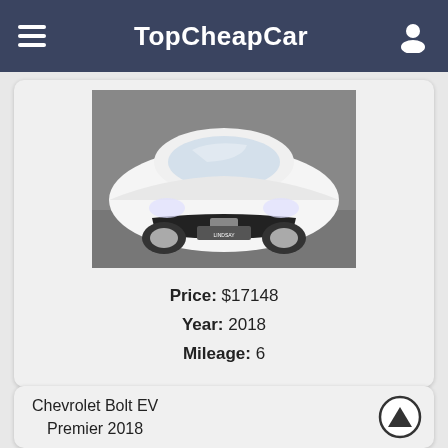TopCheapCar
[Figure (photo): Front view of a white Chevrolet Cruze sedan on a dark showroom floor, with a Lindsay dealership plate on the front bumper.]
Price: $17148
Year: 2018
Mileage: 6
Chevrolet Bolt EV
Premier 2018